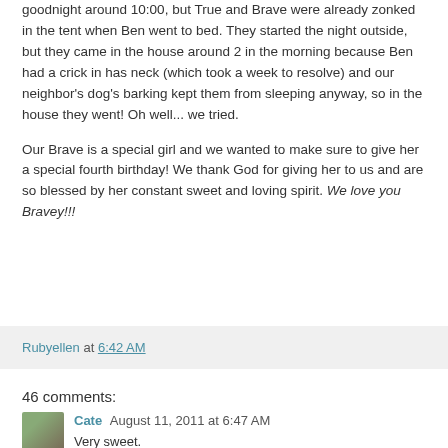goodnight around 10:00, but True and Brave were already zonked in the tent when Ben went to bed. They started the night outside, but they came in the house around 2 in the morning because Ben had a crick in has neck (which took a week to resolve) and our neighbor's dog's barking kept them from sleeping anyway, so in the house they went! Oh well... we tried.

Our Brave is a special girl and we wanted to make sure to give her a special fourth birthday! We thank God for giving her to us and are so blessed by her constant sweet and loving spirit. We love you Bravey!!!
Rubyellen at 6:42 AM
46 comments:
Cate August 11, 2011 at 6:47 AM
Very sweet.